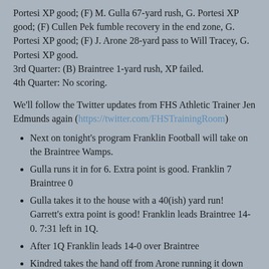Portesi XP good; (F) M. Gulla 67-yard rush, G. Portesi XP good; (F) Cullen Pek fumble recovery in the end zone, G. Portesi XP good; (F) J. Arone 28-yard pass to Will Tracey, G. Portesi XP good.
3rd Quarter: (B) Braintree 1-yard rush, XP failed.
4th Quarter: No scoring.
We'll follow the Twitter updates from FHS Athletic Trainer Jen Edmunds again (https://twitter.com/FHSTrainingRoom)
Next on tonight's program Franklin Football will take on the Braintree Wamps.
Gulla runs it in for 6. Extra point is good. Franklin 7 Braintree 0
Gulla takes it to the house with a 40(ish) yard run! Garrett's extra point is good! Franklin leads Braintree 14-0. 7:31 left in 1Q.
After 1Q Franklin leads 14-0 over Braintree
Kindred takes the hand off from Arone running it down field for 6. Extra point is good! Franklin leads Braintree 21-0!